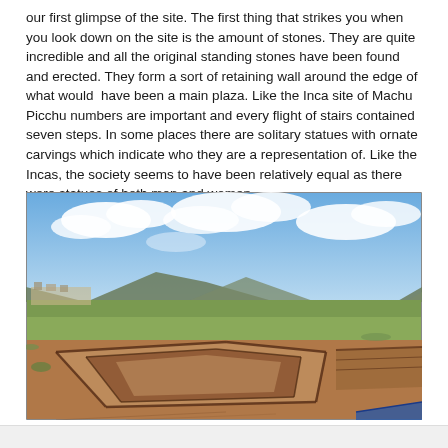our first glimpse of the site. The first thing that strikes you when you look down on the site is the amount of stones. They are quite incredible and all the original standing stones have been found and erected. They form a sort of retaining wall around the edge of what would have been a main plaza. Like the Inca site of Machu Picchu numbers are important and every flight of stairs contained seven steps. In some places there are solitary statues with ornate carvings which indicate who they are a representation of. Like the Incas, the society seems to have been relatively equal as there were statues of both men and women.
[Figure (photo): Aerial or elevated view of an archaeological excavation site showing rectangular stone-lined trenches and foundations in reddish-brown earth. The landscape is flat and grassy with mountains in the background under a partly cloudy sky. A village or settlement is visible in the middle distance on the left.]